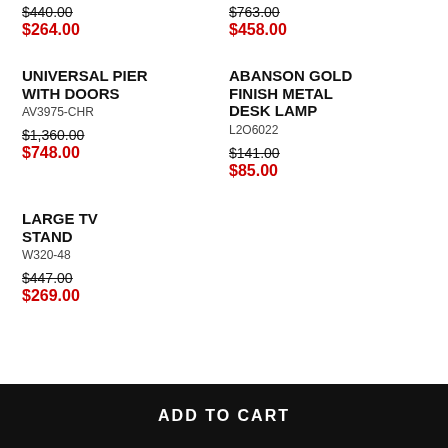$440.00 (strikethrough) $264.00 (sale, left column top)
$763.00 (strikethrough) $458.00 (sale, right column top)
UNIVERSAL PIER WITH DOORS
AV3975-CHR
$1,360.00 (strikethrough)
$748.00 (sale)
ABANSON GOLD FINISH METAL DESK LAMP
L2O6022
$141.00 (strikethrough)
$85.00 (sale)
LARGE TV STAND
W320-48
$447.00 (strikethrough)
$269.00 (sale)
ADD TO CART